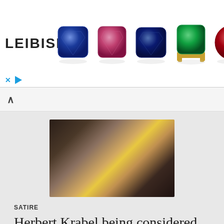[Figure (illustration): LEIBISH advertisement banner showing a logo on the left and five colored gemstones (blue sapphire, pink tourmaline, blue sapphire, green emerald in gold setting, red ruby) on a white background with X and play button controls at bottom left]
[Figure (photo): Two bald men wearing glasses posing for a photo indoors, one in a dark shirt and one in a yellow shirt]
SATIRE
Herbert Krabel being considered ...
[Figure (photo): Outdoor sea scene showing a crowded boat or float with people in the water around it, appears to be a festival or event]